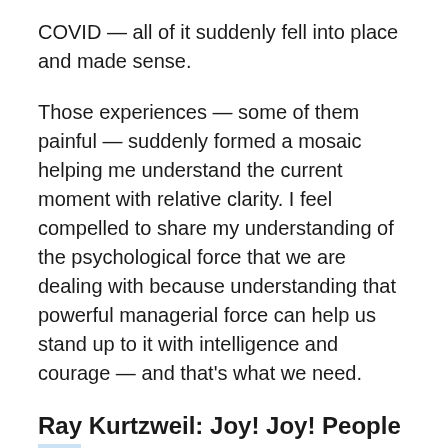COVID — all of it suddenly fell into place and made sense.
Those experiences — some of them painful — suddenly formed a mosaic helping me understand the current moment with relative clarity. I feel compelled to share my understanding of the psychological force that we are dealing with because understanding that powerful managerial force can help us stand up to it with intelligence and courage — and that's what we need.
Ray Kurtzweil: Joy! Joy! People and Machines Will Be One, at